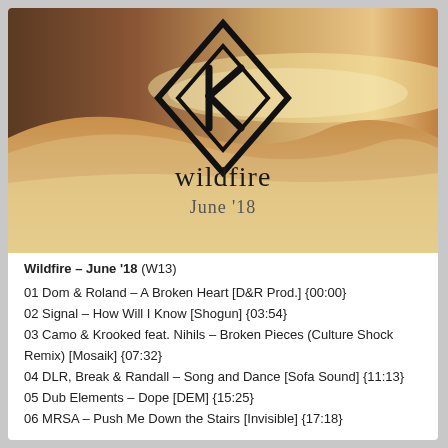[Figure (photo): Album cover image showing a sandy dune surface with warm brown tones. A diamond-shaped logo with angular 'K' letter mark is centered in the upper portion. Below the logo, the text 'wildfire' appears in elegant serif font, followed by 'June '18' in lighter weight below.]
Wildfire – June '18 (W13)
01 Dom & Roland – A Broken Heart [D&R Prod.] {00:00}
02 Signal – How Will I Know [Shogun] {03:54}
03 Camo & Krooked feat. Nihils – Broken Pieces (Culture Shock Remix) [Mosaik] {07:32}
04 DLR, Break & Randall – Song and Dance [Sofa Sound] {11:13}
05 Dub Elements – Dope [DEM] {15:25}
06 MRSA – Push Me Down the Stairs [Invisible] {17:18}